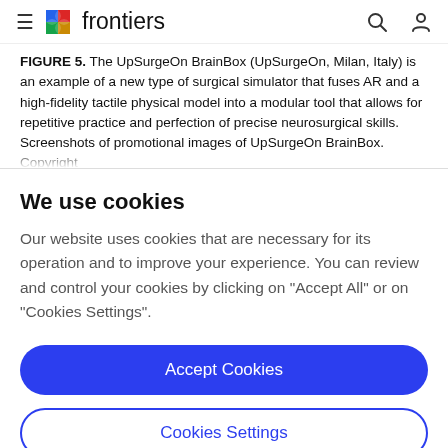frontiers
FIGURE 5. The UpSurgeOn BrainBox (UpSurgeOn, Milan, Italy) is an example of a new type of surgical simulator that fuses AR and a high-fidelity tactile physical model into a modular tool that allows for repetitive practice and perfection of precise neurosurgical skills. Screenshots of promotional images of UpSurgeOn BrainBox. Copyright
We use cookies
Our website uses cookies that are necessary for its operation and to improve your experience. You can review and control your cookies by clicking on "Accept All" or on "Cookies Settings".
Accept Cookies
Cookies Settings